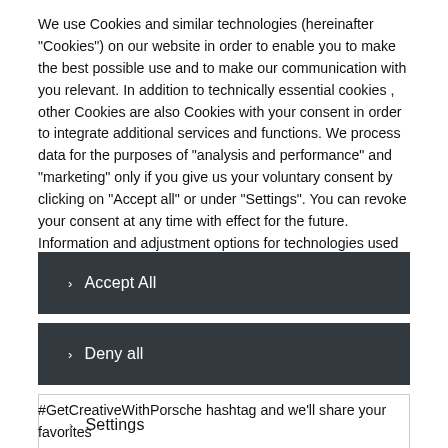We use Cookies and similar technologies (hereinafter "Cookies") on our website in order to enable you to make the best possible use and to make our communication with you relevant. In addition to technically essential cookies , other Cookies are also Cookies with your consent in order to integrate additional services and functions. We process data for the purposes of "analysis and performance" and "marketing" only if you give us your voluntary consent by clicking on "Accept all" or under "Settings". You can revoke your consent at any time with effect for the future. Information and adjustment options for technologies used by us and third-party providers as well as for revocation can be found under "Settings" and in our Cookie policy.
> Accept All
> Deny all
> Settings
#GetCreativeWithPorsche hashtag and we'll share your favorites